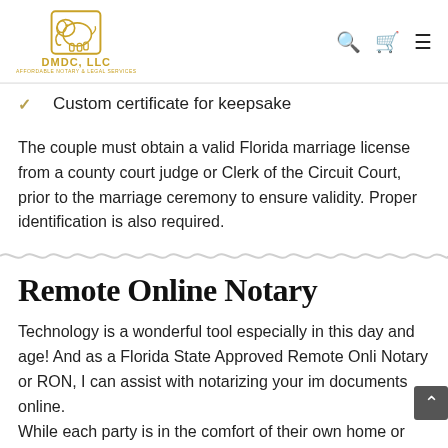DMDC, LLC
Custom certificate for keepsake
The couple must obtain a valid Florida marriage license from a county court judge or Clerk of the Circuit Court, prior to the marriage ceremony to ensure validity. Proper identification is also required.
Remote Online Notary
Technology is a wonderful tool especially in this day and age! And as a Florida State Approved Remote Onli Notary or RON, I can assist with notarizing your im documents online.
While each party is in the comfort of their own home or